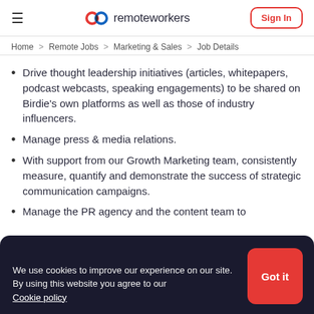remoteworkers — Sign In
Home > Remote Jobs > Marketing & Sales > Job Details
Drive thought leadership initiatives (articles, whitepapers, podcast webcasts, speaking engagements) to be shared on Birdie's own platforms as well as those of industry influencers.
Manage press & media relations.
With support from our Growth Marketing team, consistently measure, quantify and demonstrate the success of strategic communication campaigns.
Manage the PR agency and the content team to
We use cookies to improve our experience on our site. By using this website you agree to our Cookie policy
Identify key trends (through internal, secondary,